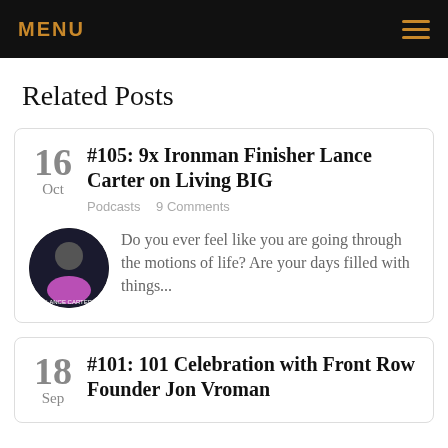MENU
Related Posts
16 Oct | #105: 9x Ironman Finisher Lance Carter on Living BIG | Podcasts | 9 Comments | Do you ever feel like you are going through the motions of life? Are your days filled with things...
18 Sep | #101: 101 Celebration with Front Row Founder Jon Vroman